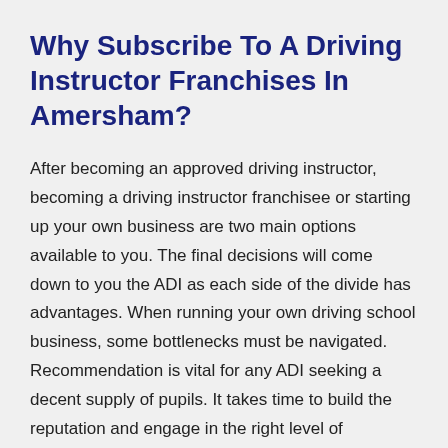Why Subscribe To A Driving Instructor Franchises In Amersham?
After becoming an approved driving instructor, becoming a driving instructor franchisee or starting up your own business are two main options available to you. The final decisions will come down to you the ADI as each side of the divide has advantages. When running your own driving school business, some bottlenecks must be navigated. Recommendation is vital for any ADI seeking a decent supply of pupils. It takes time to build the reputation and engage in the right level of marketing to make your driving school recommendations work.
Marketing, new website creation, and social media marketing are just some of the things you must do to bring in prospective students. Many ADIs do not have what it takes to draw new pupils in the early days of their driving school and make a profit, so for this reason many struggle. Joining a franchise like